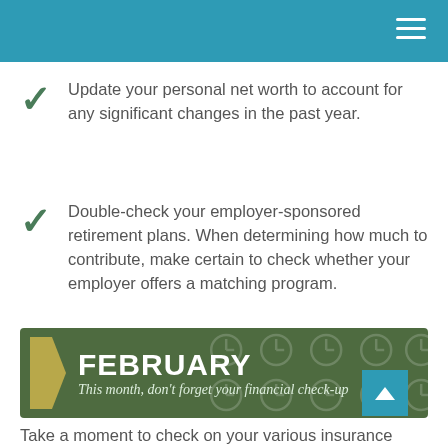Update your personal net worth to account for any significant changes in the past year.
Double-check your employer-sponsored retirement plans. When determining how much to contribute, make certain to check whether your employer offers a matching program.
[Figure (infographic): Green banner with gold arrow chevron, bold white text reading FEBRUARY with italic subtitle: This month, don't forget your financial check-up. Background has faint clock icons.]
Take a moment to check on your various insurance